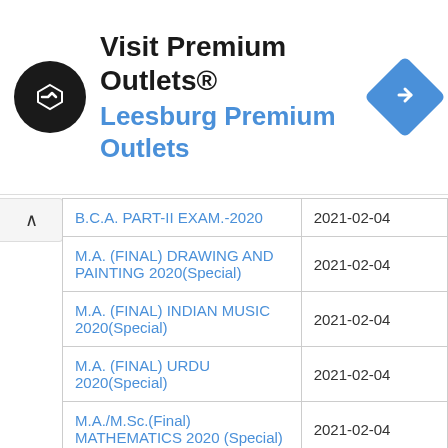[Figure (infographic): Advertisement banner for Visit Premium Outlets® / Leesburg Premium Outlets with logo and navigation arrow icon]
| Exam Name | Date |
| --- | --- |
| B.C.A. PART-II EXAM.-2020 | 2021-02-04 |
| M.A. (FINAL) DRAWING AND PAINTING 2020(Special) | 2021-02-04 |
| M.A. (FINAL) INDIAN MUSIC 2020(Special) | 2021-02-04 |
| M.A. (FINAL) URDU 2020(Special) | 2021-02-04 |
| M.A./M.Sc.(Final) MATHEMATICS 2020 (Special) | 2021-02-04 |